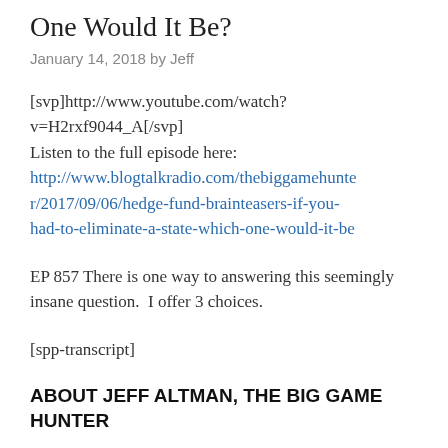One Would It Be?
January 14, 2018 by Jeff
[svp]http://www.youtube.com/watch?v=H2rxf9044_A[/svp]
Listen to the full episode here:
http://www.blogtalkradio.com/thebiggamehunter/2017/09/06/hedge-fund-brainteasers-if-you-had-to-eliminate-a-state-which-one-would-it-be
EP 857 There is one way to answering this seemingly insane question.  I offer 3 choices.
[spp-transcript]
ABOUT JEFF ALTMAN, THE BIG GAME HUNTER